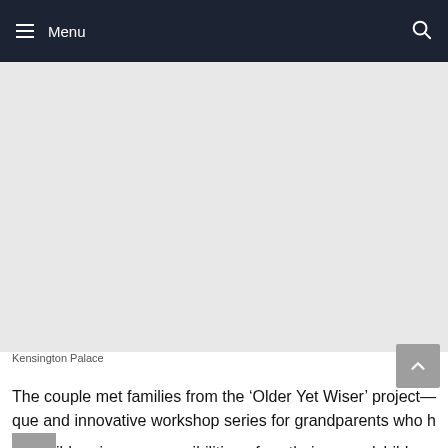Menu
[Figure (photo): Large image area showing Kensington Palace, rendered as a light grey placeholder]
Kensington Palace
The couple met families from the ‘Older Yet Wiser’ project — a unique and innovative workshop series for grandparents who have child-caring responsibilities for their grandchildren. Participants in the